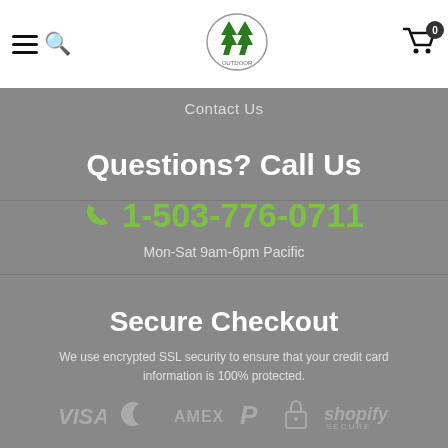[Figure (screenshot): Top navigation bar with hamburger menu, search icon, store logo (Oregon/forest theme), and cart icon with badge showing 0]
Contact Us
Questions? Call Us
1-503-776-0711
Mon-Sat 9am-6pm Pacific
Secure Checkout
We use encrypted SSL security to ensure that your credit card information is 100% protected.
[Figure (logo): Payment icons: VISA, Mastercard, AMEX, PayPal, padlock, Shopify Secure]